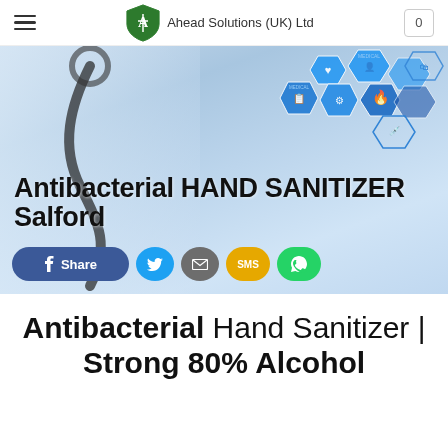Ahead Solutions (UK) Ltd
[Figure (photo): Hero banner showing a doctor/medical professional holding a stethoscope with blue medical hexagonal icons overlay, text 'Antibacterial HAND SANITIZER Salford' overlaid on the image, and social share buttons (Facebook Share, Twitter, Email, SMS, WhatsApp) at the bottom.]
Antibacterial Hand Sanitizer | Strong 80% Alcohol